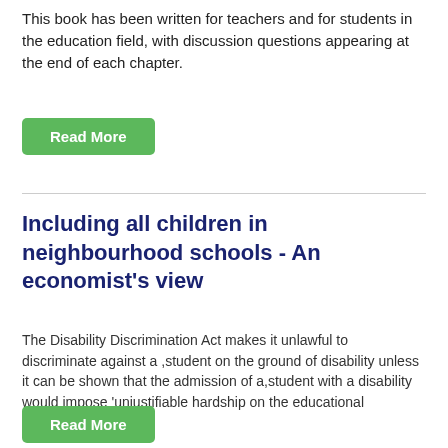This book has been written for teachers and for students in the education field, with discussion questions appearing at the end of each chapter.
Read More
Including all children in neighbourhood schools - An economist's view
The Disability Discrimination Act makes it unlawful to discriminate against a ,student on the ground of disability unless it can be shown that the admission of a,student with a disability would impose 'unjustifiable hardship on the educational authority'.
Read More